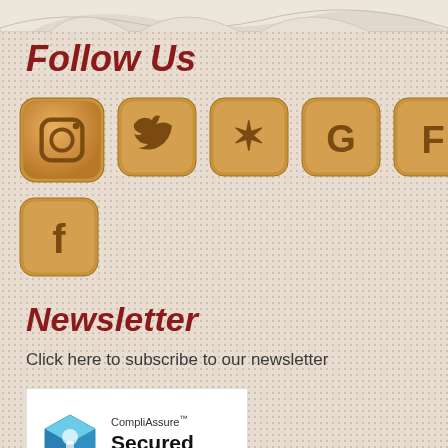[Figure (illustration): Decorative swoosh/wave shapes at top of page in light beige/tan color]
Follow Us
[Figure (illustration): Row of social media icons styled as golden/tan biscuit/cookie squares: Instagram, Twitter, Yelp, Google, Foursquare, LinkedIn]
[Figure (illustration): Second row with one social media icon styled as golden/tan biscuit/cookie square: Facebook]
Newsletter
Click here to subscribe to our newsletter
[Figure (logo): CompliAssure Secured badge with blue cube icon, text: CompliAssure Secured powered by Aperia]